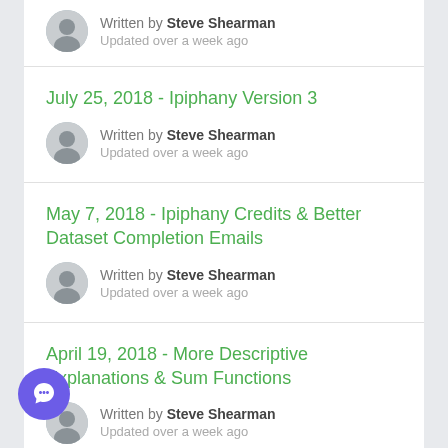Written by Steve Shearman
Updated over a week ago
July 25, 2018 - Ipiphany Version 3
Written by Steve Shearman
Updated over a week ago
May 7, 2018 - Ipiphany Credits & Better Dataset Completion Emails
Written by Steve Shearman
Updated over a week ago
April 19, 2018 - More Descriptive Explanations & Sum Functions
Written by Steve Shearman
Updated over a week ago